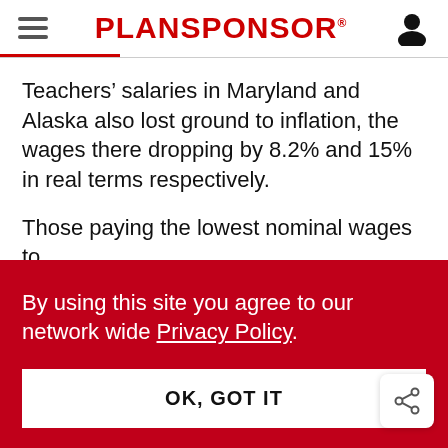PLANSPONSOR
Teachers’ salaries in Maryland and Alaska also lost ground to inflation, the wages there dropping by 8.2% and 15% in real terms respectively.
Those paying the lowest nominal wages to
By using this site you agree to our network wide Privacy Policy.
OK, GOT IT